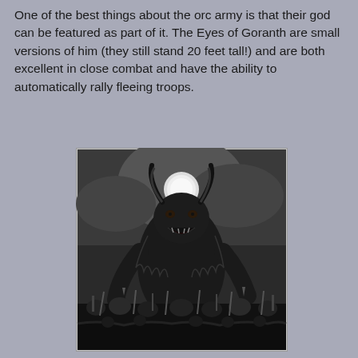One of the best things about the orc army is that their god can be featured as part of it. The Eyes of Goranth are small versions of him (they still stand 20 feet tall!) and are both excellent in close combat and have the ability to automatically rally fleeing troops.
[Figure (illustration): A black and white illustration of a massive horned demon-like creature (Goranth) looming over a crowd of armed orc warriors. The creature has bull-like horns, a fierce open-mouthed expression, and is surrounded by a glowing moon or light source behind its head. The foreground shows armored warriors with weapons and helmets.]